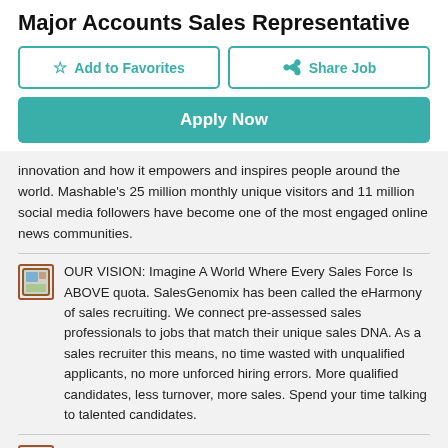Major Accounts Sales Representative
Add to Favorites  |  Share Job
Apply Now
innovation and how it empowers and inspires people around the world. Mashable's 25 million monthly unique visitors and 11 million social media followers have become one of the most engaged online news communities.
[Figure (logo): Small image icon with brown border]
OUR VISION: Imagine A World Where Every Sales Force Is ABOVE quota. SalesGenomix has been called the eHarmony of sales recruiting. We connect pre-assessed sales professionals to jobs that match their unique sales DNA. As a sales recruiter this means, no time wasted with unqualified applicants, no more unforced hiring errors. More qualified candidates, less turnover, more sales. Spend your time talking to talented candidates.
[Figure (logo): Small image icon with brown border]
Influential industry leaders and key decision-makers